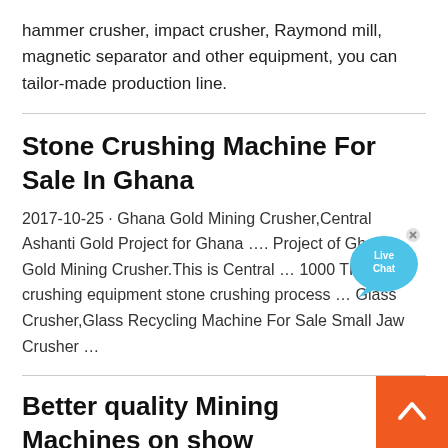hammer crusher, impact crusher, Raymond mill, magnetic separator and other equipment, you can tailor-made production line.
Stone Crushing Machine For Sale In Ghana
2017-10-25 · Ghana Gold Mining Crusher,Central Ashanti Gold Project for Ghana …. Project of Ghana Gold Mining Crusher.This is Central … 1000 TPH crushing equipment stone crushing process … Glass Crusher,Glass Recycling Machine For Sale Small Jaw Crusher …
[Figure (other): Live Chat bubble icon with close button]
Better quality Mining Machines on show
MW Series Micro Powder Mill is a new superfine powder